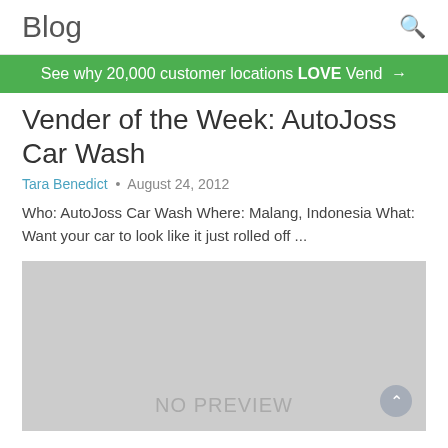Blog
See why 20,000 customer locations LOVE Vend →
Vender of the Week: AutoJoss Car Wash
Tara Benedict • August 24, 2012
Who: AutoJoss Car Wash Where: Malang, Indonesia What: Want your car to look like it just rolled off ...
[Figure (photo): No preview image placeholder (gray rectangle with NO PREVIEW text)]